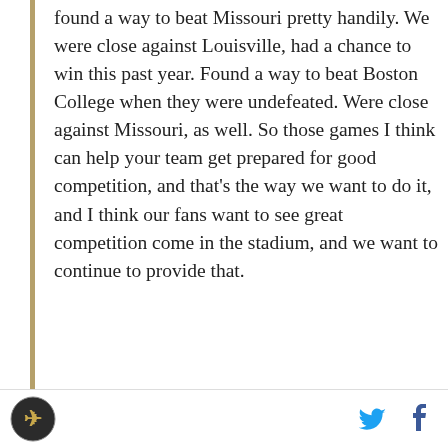found a way to beat Missouri pretty handily. We were close against Louisville, had a chance to win this past year. Found a way to beat Boston College when they were undefeated. Were close against Missouri, as well. So those games I think can help your team get prepared for good competition, and that's the way we want to do it, and I think our fans want to see great competition come in the stadium, and we want to continue to provide that.
On last season's high points
Well, those are great moments when you have some big wins and your fans get to participate and experience the joy of those wins. We have a great